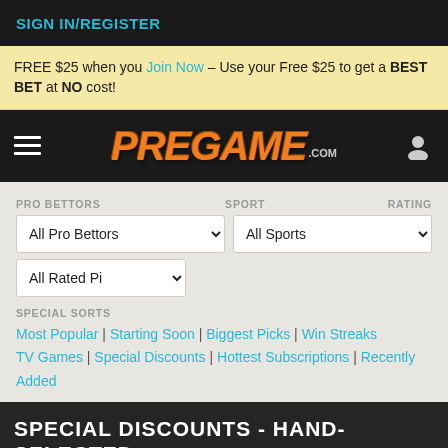SIGN IN/REGISTER
FREE $25 when you Join Now – Use your Free $25 to get a BEST BET at NO cost!
[Figure (logo): Pregame.com logo in orange italic font with .com suffix]
PRO BETTORS | SPORT | RATING filter dropdowns: All Pro Bettors, All Sports, All Rated Picks
SPECIAL SORTS
Most Popular | Starting Soon | Biggest Picks | Win Streaks TV Games | Special Discounts | Hottest Subscriptions | Recently Added
SPECIAL DISCOUNTS - HAND-SELECTED LISTING OF OUR DON'T MISS DEEPEST